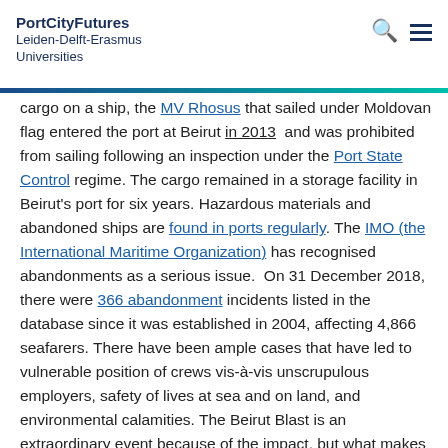PortCityFutures Leiden-Delft-Erasmus Universities
cargo on a ship, the MV Rhosus that sailed under Moldovan flag entered the port at Beirut in 2013 and was prohibited from sailing following an inspection under the Port State Control regime. The cargo remained in a storage facility in Beirut's port for six years. Hazardous materials and abandoned ships are found in ports regularly. The IMO (the International Maritime Organization) has recognised abandonments as a serious issue. On 31 December 2018, there were 366 abandonment incidents listed in the database since it was established in 2004, affecting 4,866 seafarers. There have been ample cases that have led to vulnerable position of crews vis-à-vis unscrupulous employers, safety of lives at sea and on land, and environmental calamities. The Beirut Blast is an extraordinary event because of the impact, but what makes